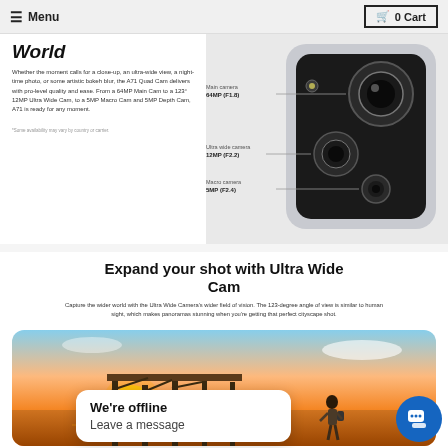Menu | 0 Cart
World
Whether the moment calls for a close-up, an ultra-wide view, a night-time photo, or some artistic bokeh blur, the A71 Quad Cam delivers with pro-level quality and ease. From a 64MP Main Cam to a 123° 12MP Ultra Wide Cam, to a 5MP Macro Cam and 5MP Depth Cam, A71 is ready for any moment.
*Some availability may vary by country or carrier.
[Figure (engineering-diagram): Camera module diagram showing Main camera 64MP (F1.8), Ultra wide camera 12MP (F2.2), Macro camera 5MP (F2.4) labeled on a phone rear camera array]
Expand your shot with Ultra Wide Cam
Capture the wider world with the Ultra Wide Camera's wider field of vision. The 123-degree angle of view is similar to human sight, which makes panoramas stunning when you're getting that perfect cityscape shot.
[Figure (illustration): Wide angle icon (dark square with wide angle lens symbol)]
[Figure (illustration): Ultra wide angle icon (light square with ultra wide angle lens symbol)]
Wide angle | Ultra wide angle
[Figure (photo): Sunset photo of a person with backpack walking near a pier on the beach, golden hour light]
We're offline
Leave a message